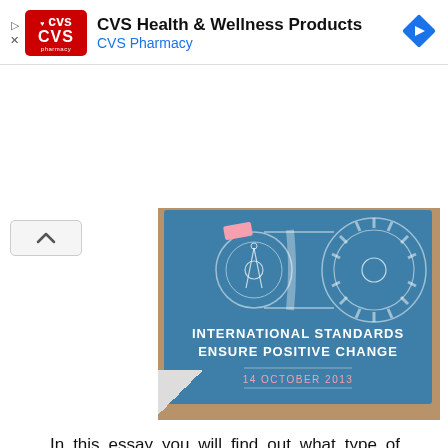[Figure (other): CVS Health & Wellness Products advertisement banner with CVS Pharmacy logo (red background with heart symbol), text 'CVS Health & Wellness Products' and 'CVS Pharmacy' in blue, and a blue navigation diamond icon on the right. Play and X controls on the left.]
[Figure (illustration): Blueprint-style illustration on a chalkboard/blue background showing mechanical gears connected by a belt, with a compass/drafting tool figure. A pink eraser is visible at the top. Text reads 'INTERNATIONAL STANDARDS ENSURE POSITIVE CHANGE' and '14 OCTOBER 2013'. The image is set on a brown/tan cardboard background.]
In this essay you will find out what type of international standards are being implemented in the world today, and how this is considered to be the assurance of a positive change. Standards have generally been established to inculcate the